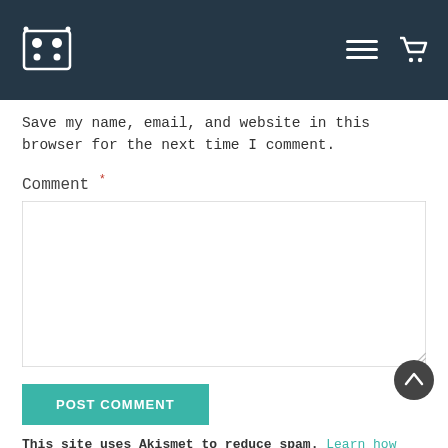[Navigation bar with logo and menu/cart icons]
Save my name, email, and website in this browser for the next time I comment.
Comment *
POST COMMENT
This site uses Akismet to reduce spam. Learn how your